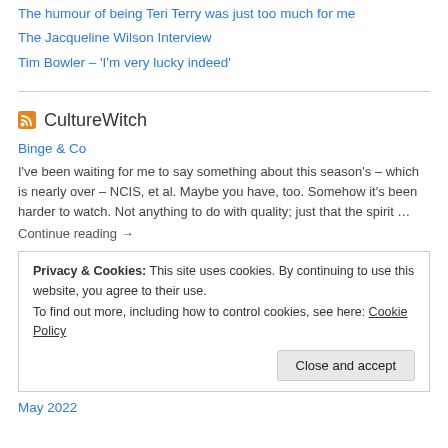The humour of being Teri Terry was just too much for me
The Jacqueline Wilson Interview
Tim Bowler – 'I'm very lucky indeed'
CultureWitch
Binge & Co
I've been waiting for me to say something about this season's – which is nearly over – NCIS, et al. Maybe you have, too. Somehow it's been harder to watch. Not anything to do with quality; just that the spirit …
Continue reading →
Privacy & Cookies: This site uses cookies. By continuing to use this website, you agree to their use.
To find out more, including how to control cookies, see here: Cookie Policy
Close and accept
May 2022